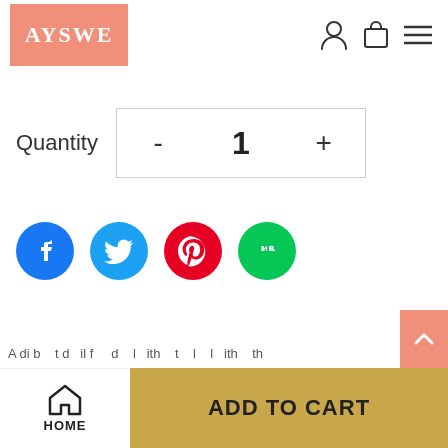AYSWE
Quantity - 1 +
[Figure (infographic): Social media share icons: Facebook (blue circle with f logo), Twitter (blue circle with bird logo), Pinterest (red circle with P logo), LINE (green circle with LINE chat bubble logo)]
[Figure (infographic): Back to top button: salmon/pink square with upward chevron arrow]
A di b t d il f d l ith t l l ith th
HOME  ADD TO CART